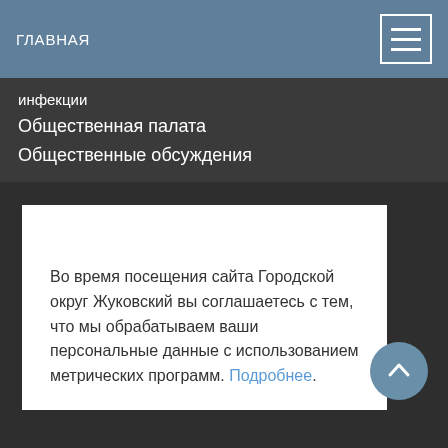ГЛАВНАЯ
инфекции
Общественная палата
Общественные обсуждения
Во время посещения сайта Городской округ Жуковский вы соглашаетесь с тем, что мы обрабатываем ваши персональные данные с использованием метрических программ. Подробнее.
Принять